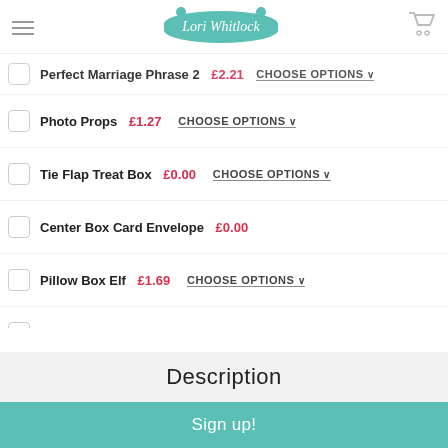Lori Whitlock
Perfect Marriage Phrase 2  £2.21  CHOOSE OPTIONS
Photo Props  £1.27  CHOOSE OPTIONS
Tie Flap Treat Box  £0.00  CHOOSE OPTIONS
Center Box Card Envelope  £0.00
Pillow Box Elf  £1.69  CHOOSE OPTIONS
Pizza Box 2  £2.54  CHOOSE OPTIONS
A2 Store Flat Stationery Box  £2.54  CHOOSE OPTIONS
Pizza Box  £2.54  CHOOSE OPTIONS
Description
Sign up!